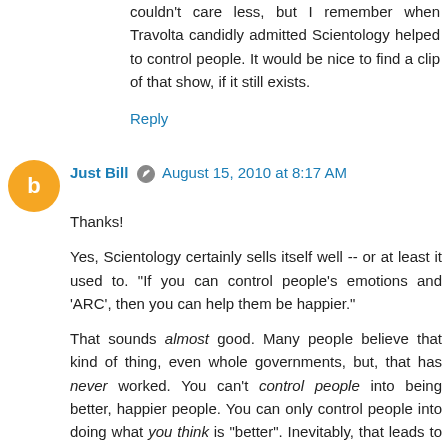couldn't care less, but I remember when Travolta candidly admitted Scientology helped to control people. It would be nice to find a clip of that show, if it still exists.
Reply
Just Bill  ✏  August 15, 2010 at 8:17 AM
Thanks!

Yes, Scientology certainly sells itself well -- or at least it used to. "If you can control people's emotions and 'ARC', then you can help them be happier."

That sounds almost good. Many people believe that kind of thing, even whole governments, but, that has never worked. You can't control people into being better, happier people. You can only control people into doing what you think is "better". Inevitably, that leads to horrible abuses.

Re: Tone -.5

That's a bit far fetched, but if a Scientologist believed